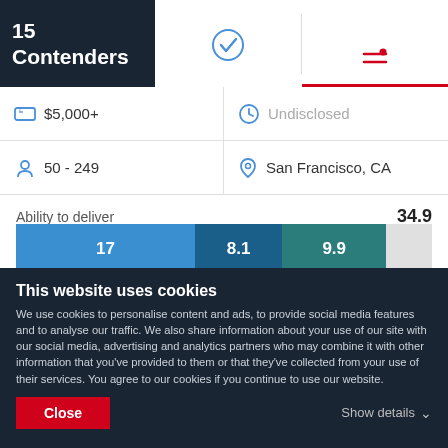15 Contenders
[Figure (screenshot): Two tab icons: a checkmark circle icon and an active filter/settings icon with a red underline indicator]
| Icon | Value | Icon | Value |
| --- | --- | --- | --- |
| tag icon | $5,000+ | clock icon | Undisclosed |
| person icon | 50 - 249 | location icon | San Francisco, CA |
Ability to deliver   34.9
[Figure (stacked-bar-chart): Ability to deliver]
Reviews
This website uses cookies
We use cookies to personalise content and ads, to provide social media features and to analyse our traffic. We also share information about your use of our site with our social media, advertising and analytics partners who may combine it with other information that you've provided to them or that they've collected from your use of their services. You agree to our cookies if you continue to use our website.
Close
Show details